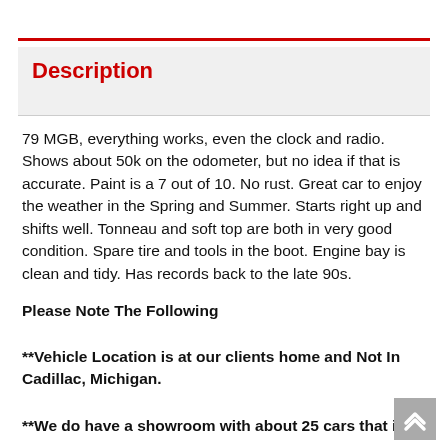Description
79 MGB, everything works, even the clock and radio. Shows about 50k on the odometer, but no idea if that is accurate. Paint is a 7 out of 10. No rust. Great car to enjoy the weather in the Spring and Summer. Starts right up and shifts well. Tonneau and soft top are both in very good condition. Spare tire and tools in the boot. Engine bay is clean and tidy. Has records back to the late 90s.
Please Note The Following
**Vehicle Location is at our clients home and Not In Cadillac, Michigan.
**We do have a showroom with about 25 cars that is by